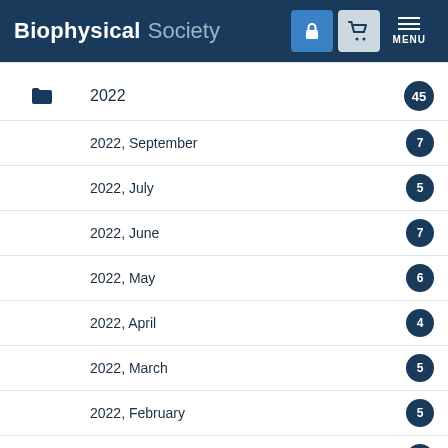Biophysical Society
2022
2022, September
2022, July
2022, June
2022, May
2022, April
2022, March
2022, February
2022, January
2021
2020
2019
2018
2017
2016